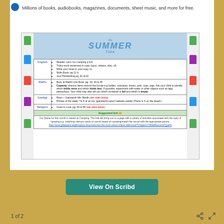Millions of books, audiobooks, magazines, documents, sheet music, and more for free.
[Figure (screenshot): A homework schedule document with 'It's SUMMER Time' banner and a table of subjects including English, Maths, Gaeilge, and Religion with tasks listed, plus a Suggested Link section with camping activities URL.]
[Figure (illustration): View On Scribd button (teal/green)]
1 of 2